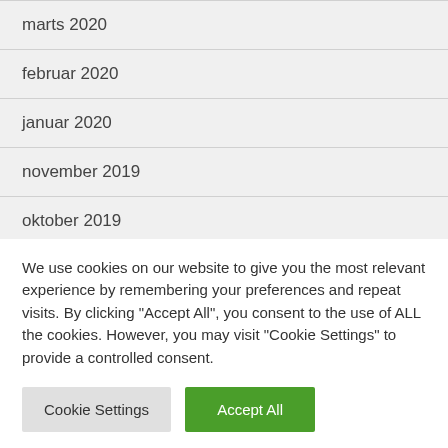marts 2020
februar 2020
januar 2020
november 2019
oktober 2019
september 2019
august 2019
We use cookies on our website to give you the most relevant experience by remembering your preferences and repeat visits. By clicking "Accept All", you consent to the use of ALL the cookies. However, you may visit "Cookie Settings" to provide a controlled consent.
Cookie Settings | Accept All